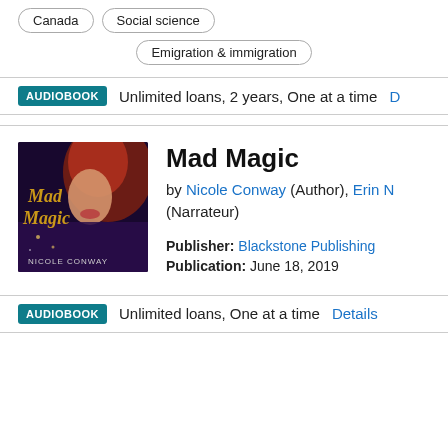Canada
Social science
Emigration & immigration
AUDIOBOOK  Unlimited loans, 2 years, One at a time  D
[Figure (photo): Book cover for Mad Magic by Nicole Conway, showing a woman with red hair against a dark fantasy background with golden decorative lettering]
Mad Magic
by Nicole Conway (Author), Erin N (Narrateur)
Publisher: Blackstone Publishing
Publication: June 18, 2019
AUDIOBOOK  Unlimited loans, One at a time  Details